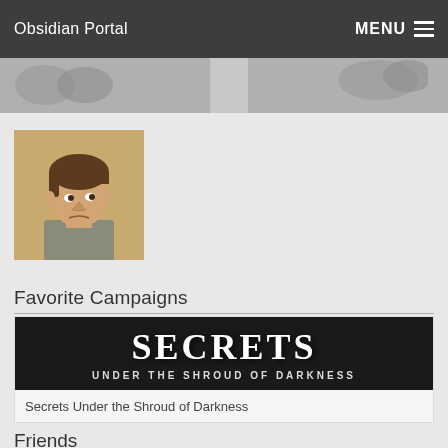Obsidian Portal  MENU
[Figure (illustration): Cartoon character avatar - a stylized man with brown hair looking sideways]
Favorite Campaigns
[Figure (photo): Campaign banner reading SECRETS UNDER THE SHROUD OF DARKNESS in white text on dark background]
Secrets Under the Shroud of Darkness
Friends
[Figure (photo): Three friend profile thumbnails: pentagram ring image, cartoon illustration, and woman with glasses photo]